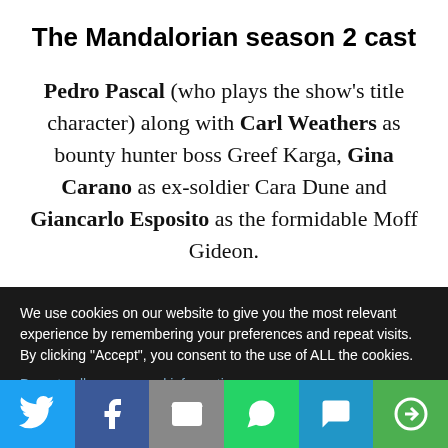The Mandalorian season 2 cast
Pedro Pascal (who plays the show’s title character) along with Carl Weathers as bounty hunter boss Greef Karga, Gina Carano as ex-soldier Cara Dune and Giancarlo Esposito as the formidable Moff Gideon.
We use cookies on our website to give you the most relevant experience by remembering your preferences and repeat visits. By clicking “Accept”, you consent to the use of ALL the cookies.
Do not sell my personal information.
[Figure (infographic): Social share bar with Twitter, Facebook, Email, WhatsApp, SMS, and More buttons]